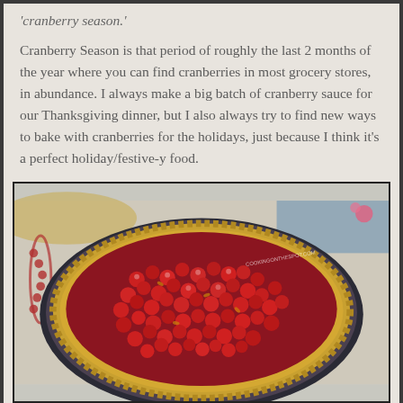'cranberry season.'
Cranberry Season is that period of roughly the last 2 months of the year where you can find cranberries in most grocery stores, in abundance. I always make a big batch of cranberry sauce for our Thanksgiving dinner, but I also always try to find new ways to bake with cranberries for the holidays, just because I think it's a perfect holiday/festive-y food.
[Figure (photo): A cranberry tart or pie with a golden crimped crust filled with whole roasted/baked cranberries, viewed from above. A circular baking dish is visible. Decorative items including beads are visible in the background. A watermark reads 'COOKINGONTHESPOT.COM'.]